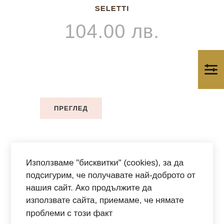SELETTI
104.00 лв.
[Figure (other): Filter/settings icon button with gold background in top right corner]
ПРЕГЛЕД
Използваме "бисквитки" (cookies), за да подсигурим, че получавате най-доброто от нашия сайт. Ако продължите да използвате сайта, приемаме, че нямате проблеми с този факт
Научи повече
Приемам